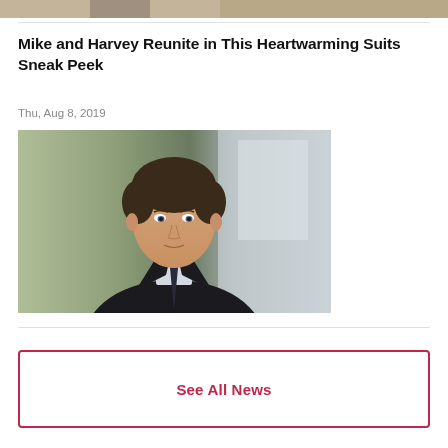[Figure (photo): Partial top strip showing a cropped photo from a previous article]
Mike and Harvey Reunite in This Heartwarming Suits Sneak Peek
Thu, Aug 8, 2019
[Figure (photo): A man in a dark suit with a striped tie, smiling slightly, in a professional office setting with blurred background]
See All News